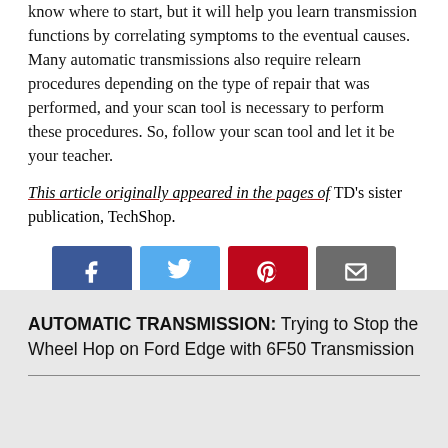know where to start, but it will help you learn transmission functions by correlating symptoms to the eventual causes. Many automatic transmissions also require relearn procedures depending on the type of repair that was performed, and your scan tool is necessary to perform these procedures. So, follow your scan tool and let it be your teacher.
This article originally appeared in the pages of TD's sister publication, TechShop.
[Figure (other): Four social sharing buttons: Facebook (blue), Twitter (light blue), Pinterest (red), Email (gray)]
In this article: Scan Tools
AUTOMATIC TRANSMISSION: Trying to Stop the Wheel Hop on Ford Edge with 6F50 Transmission